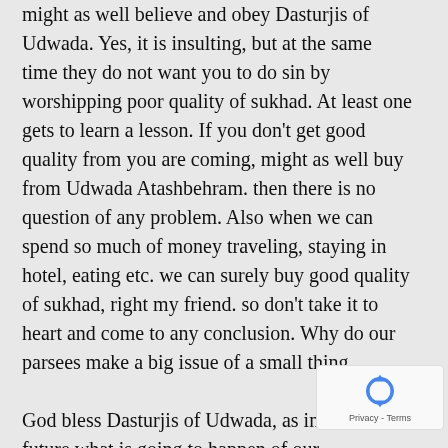might as well believe and obey Dasturjis of Udwada. Yes, it is insulting, but at the same time they do not want you to do sin by worshipping poor quality of sukhad. At least one gets to learn a lesson. If you don't get good quality from you are coming, might as well buy from Udwada Atashbehram. then there is no question of any problem. Also when we can spend so much of money traveling, staying in hotel, eating etc. we can surely buy good quality of sukhad, right my friend. so don't take it to heart and come to any conclusion. Why do our parsees make a big issue of a small thing.
God bless Dasturjis of Udwada, as in near future what is going to happen of our Iranshers as all youngsters have stopped...
[Figure (other): reCAPTCHA badge with rotating arrows logo and Privacy - Terms text]